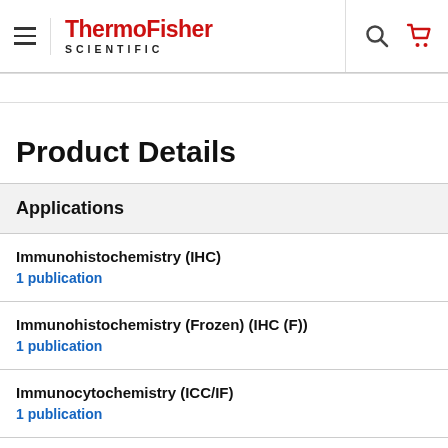ThermoFisher SCIENTIFIC
Product Details
Applications
Immunohistochemistry (IHC)
1 publication
Immunohistochemistry (Frozen) (IHC (F))
1 publication
Immunocytochemistry (ICC/IF)
1 publication